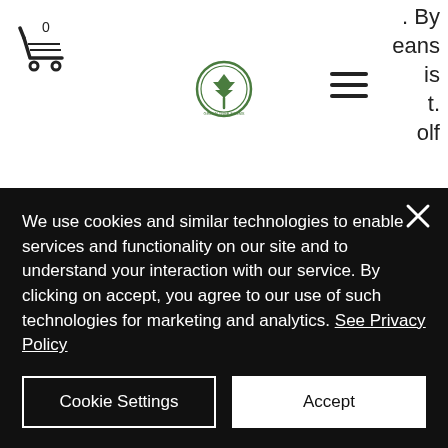[Figure (illustration): Shopping cart icon with '0' badge in upper left of page header]
[Figure (logo): Green Tree Farms circular logo in center of page header]
[Figure (illustration): Hamburger menu icon (three horizontal lines) in header]
. By
eans
is
t.
olf
slot machine game online. Receive up to $4,000 in welcome bonus and more going forward! The quality of a casino game depends very much on the software developer that created the game, online slots mobile billing. Some software developers are known for creating high-quality games, while others are known for
We use cookies and similar technologies to enable services and functionality on our site and to understand your interaction with our service. By clicking on accept, you agree to our use of such technologies for marketing and analytics. See Privacy Policy
Cookie Settings
Accept